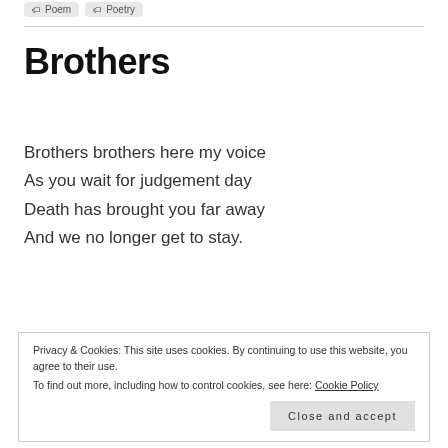Poem
Poetry
Brothers
Brothers brothers here my voice
As you wait for judgement day
Death has brought you far away
And we no longer get to stay.
Privacy & Cookies: This site uses cookies. By continuing to use this website, you agree to their use. To find out more, including how to control cookies, see here: Cookie Policy
Close and accept